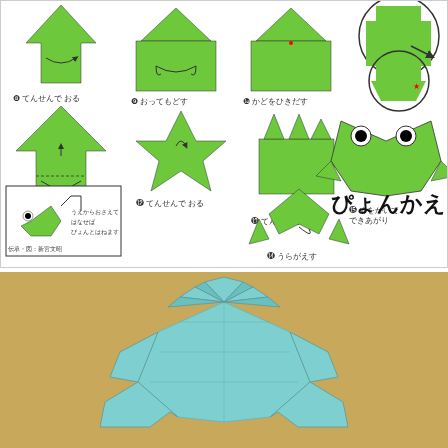[Figure (illustration): Origami jumping frog instructions in Japanese showing steps 8-15 with green paper folding diagrams. Steps include: 8 てんせんで おる (fold on dotted line), 9 おってもどす, 10 かどをひきだす, 11 てんせんで おる, 12 てんせんで おる, 13 てんせんで おる, 14 うらがえす, 15 めをかいてできあがり. Final result shows a green origami frog called ぴょんかえる. Small inset shows how pressing the frog makes it jump. Credit: 伝承・図：新宮文昭]
[Figure (photo): Photo of a completed origami frog made from light blue/cyan paper on a tan/gold background. The frog is viewed from above and shows the characteristic jumping frog shape with folded legs.]